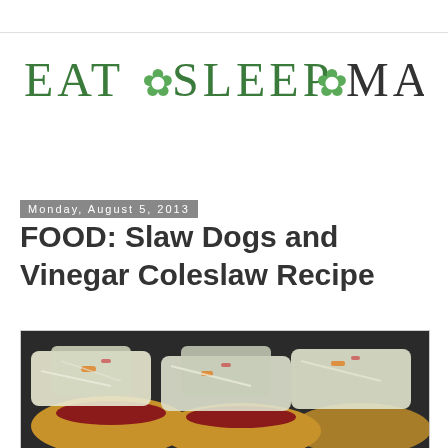[Figure (logo): EAT SLEEP MAKE blog logo with leaf/snowflake decorations between words, in green serif font]
Monday, August 5, 2013
FOOD: Slaw Dogs and Vinegar Coleslaw Recipe
[Figure (photo): Close-up photo of slaw dogs — hot dogs in buns topped with colorful vinegar coleslaw showing shredded cabbage, carrots and red onion]